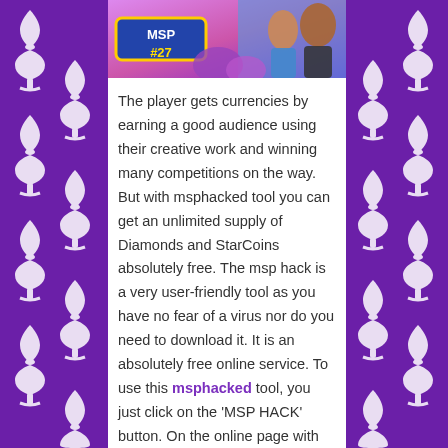[Figure (photo): Game screenshot or promotional image showing MSP #27 badge with purple/pink background and character figures]
The player gets currencies by earning a good audience using their creative work and winning many competitions on the way. But with msphacked tool you can get an unlimited supply of Diamonds and StarCoins absolutely free. The msp hack is a very user-friendly tool as you have no fear of a virus nor do you need to download it. It is an absolutely free online service. To use this msphacked tool, you just click on the 'MSP HACK' button. On the online page with the device of your choice, you can play your favorite msp game. It can be played on any platform such as MAC, Android, Windows or